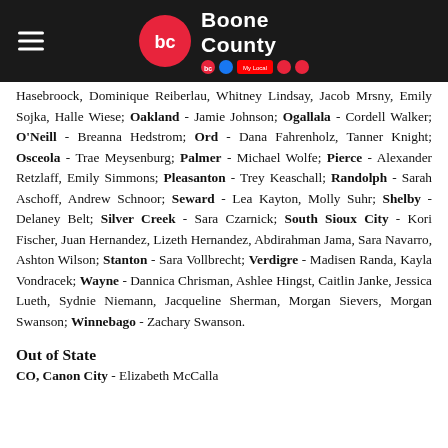Boone County
Hasebroock, Dominique Reiberlau, Whitney Lindsay, Jacob Mrsny, Emily Sojka, Halle Wiese; Oakland - Jamie Johnson; Ogallala - Cordell Walker; O'Neill - Breanna Hedstrom; Ord - Dana Fahrenholz, Tanner Knight; Osceola - Trae Meysenburg; Palmer - Michael Wolfe; Pierce - Alexander Retzlaff, Emily Simmons; Pleasanton - Trey Keaschall; Randolph - Sarah Aschoff, Andrew Schnoor; Seward - Lea Kayton, Molly Suhr; Shelby - Delaney Belt; Silver Creek - Sara Czarnick; South Sioux City - Kori Fischer, Juan Hernandez, Lizeth Hernandez, Abdirahman Jama, Sara Navarro, Ashton Wilson; Stanton - Sara Vollbrecht; Verdigre - Madisen Randa, Kayla Vondracek; Wayne - Dannica Chrisman, Ashlee Hingst, Caitlin Janke, Jessica Lueth, Sydnie Niemann, Jacqueline Sherman, Morgan Sievers, Morgan Swanson; Winnebago - Zachary Swanson.
Out of State
CO, Canon City - Elizabeth McCalla